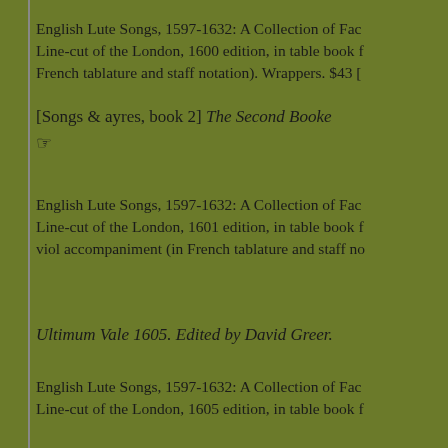English Lute Songs, 1597-1632: A Collection of Fac Line-cut of the London, 1600 edition, in table book f French tablature and staff notation). Wrappers. $43 [
[Songs & ayres, book 2] The Second Booke
English Lute Songs, 1597-1632: A Collection of Fac Line-cut of the London, 1601 edition, in table book f viol accompaniment (in French tablature and staff no
Ultimum Vale 1605. Edited by David Greer.
English Lute Songs, 1597-1632: A Collection of Fac Line-cut of the London, 1605 edition, in table book f